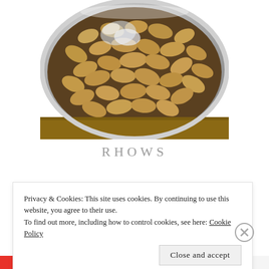[Figure (photo): Close-up photograph of boiled peanuts in shells piled in a silver/metal bowl, viewed from above. The peanuts are tan/brown colored and glistening with moisture.]
RHOWS
Privacy & Cookies: This site uses cookies. By continuing to use this website, you agree to their use.
To find out more, including how to control cookies, see here: Cookie Policy
Close and accept